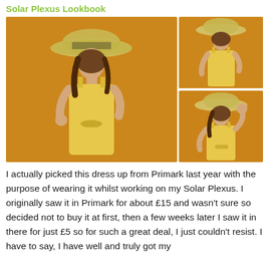Solar Plexus Lookbook
[Figure (photo): Three photos of a woman wearing a yellow sundress and wide-brim straw hat, posed against an orange/amber wall. Large photo on the left, two smaller photos stacked on the right.]
I actually picked this dress up from Primark last year with the purpose of wearing it whilst working on my Solar Plexus. I originally saw it in Primark for about £15 and wasn't sure so decided not to buy it at first, then a few weeks later I saw it in there for just £5 so for such a great deal, I just couldn't resist. I have to say, I have well and truly got my